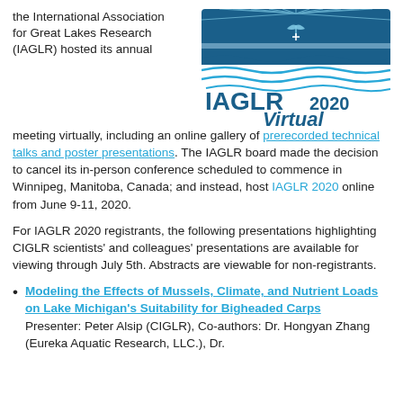the International Association for Great Lakes Research (IAGLR) hosted its annual meeting virtually, including an online gallery of prerecorded technical talks and poster presentations. The IAGLR board made the decision to cancel its in-person conference scheduled to commence in Winnipeg, Manitoba, Canada; and instead, host IAGLR 2020 online from June 9-11, 2020.
[Figure (logo): IAGLR 2020 Virtual conference logo with stylized waves and bird graphic in blue tones]
For IAGLR 2020 registrants, the following presentations highlighting CIGLR scientists' and colleagues' presentations are available for viewing through July 5th. Abstracts are viewable for non-registrants.
Modeling the Effects of Mussels, Climate, and Nutrient Loads on Lake Michigan’s Suitability for Bigheaded Carps
Presenter: Peter Alsip (CIGLR), Co-authors: Dr. Hongyan Zhang (Eureka Aquatic Research, LLC.), Dr.